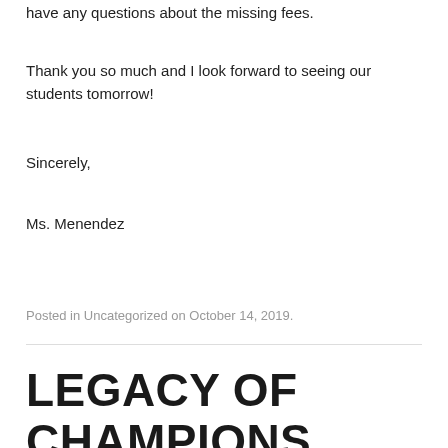have any questions about the missing fees.
Thank you so much and I look forward to seeing our students tomorrow!
Sincerely,
Ms. Menendez
Posted in Uncategorized on October 14, 2019.
LEGACY OF CHAMPIONS BAND COMPETITION